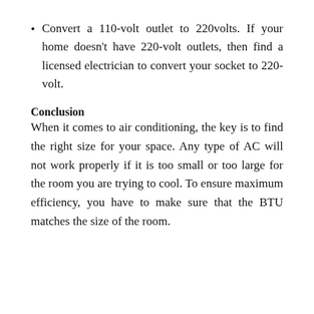Convert a 110-volt outlet to 220volts. If your home doesn't have 220-volt outlets, then find a licensed electrician to convert your socket to 220-volt.
Conclusion
When it comes to air conditioning, the key is to find the right size for your space. Any type of AC will not work properly if it is too small or too large for the room you are trying to cool. To ensure maximum efficiency, you have to make sure that the BTU matches the size of the room.